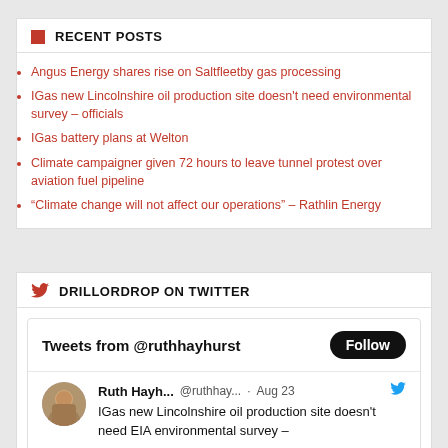RECENT POSTS
Angus Energy shares rise on Saltfleetby gas processing
IGas new Lincolnshire oil production site doesn't need environmental survey – officials
IGas battery plans at Welton
Climate campaigner given 72 hours to leave tunnel protest over aviation fuel pipeline
“Climate change will not affect our operations” – Rathlin Energy
DRILLORDROP ON TWITTER
Tweets from @ruthhayhurst Follow
Ruth Hayh... @ruthhay... · Aug 23 IGas new Lincolnshire oil production site doesn't need EIA environmental survey –